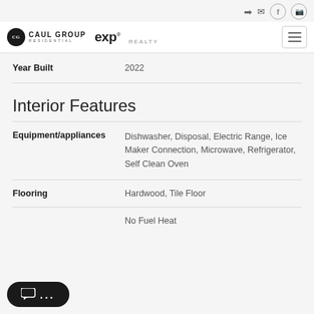Caul Group Residential | eXp Realty
| Field | Value |
| --- | --- |
| Year Built | 2022 |
| Equipment/appliances | Dishwasher, Disposal, Electric Range, Ice Maker Connection, Microwave, Refrigerator, Self Clean Oven |
| Flooring | Hardwood, Tile Floor |
|  | No Fuel Heat |
Interior Features